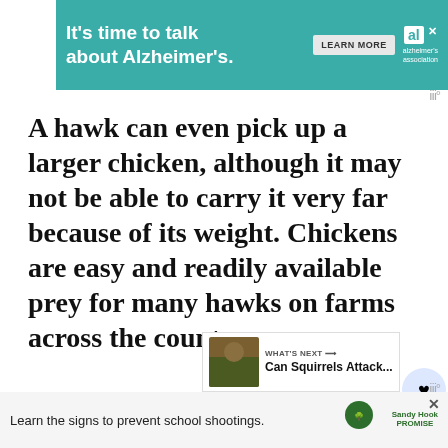[Figure (other): Alzheimer's Association advertisement banner with teal background reading "It's time to talk about Alzheimer's." with LEARN MORE button and logo]
A hawk can even pick up a larger chicken, although it may not be able to carry it very far because of its weight. Chickens are easy and readily available prey for many hawks on farms across the country.
[Figure (other): What's Next widget showing thumbnail image and text 'Can Squirrels Attack...']
Understanding the predatory nature of hawks reveals how backyard chickens can easily become pr[ey]...
[Figure (other): Sandy Hook Promise advertisement banner at bottom: 'Learn the signs to prevent school shootings.']